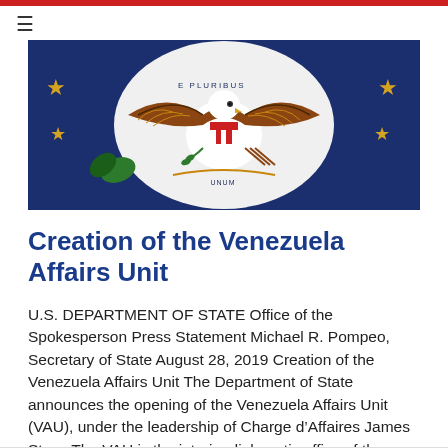[Figure (photo): Close-up photo of the U.S. Department of State seal showing a bald eagle with wings spread, olive branch and arrows, on a blue background with gold stars]
Creation of the Venezuela Affairs Unit
U.S. DEPARTMENT OF STATE Office of the Spokesperson Press Statement Michael R. Pompeo, Secretary of State August 28, 2019 Creation of the Venezuela Affairs Unit The Department of State announces the opening of the Venezuela Affairs Unit (VAU), under the leadership of Charge d’Affaires James Story. The VAU is the interim diplomatic office of the ...
Read More»